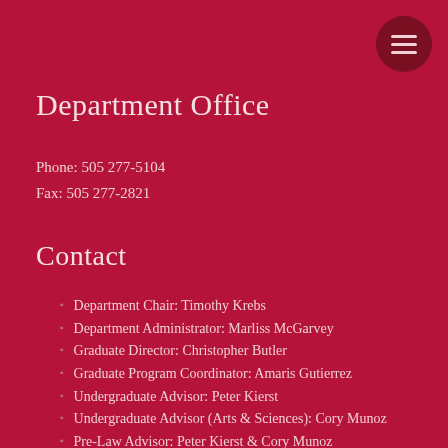Department Office
Phone: 505 277-5104
Fax: 505 277-2821
Contact
Department Chair: Timothy Krebs
Department Administrator: Marliss McGarvey
Graduate Director: Christopher Butler
Graduate Program Coordinator: Amaris Gutierrez
Undergraduate Advisor: Peter Kierst
Undergraduate Advisor (Arts & Sciences): Cory Munoz
Pre-Law Advisor: Peter Kierst & Cory Munoz